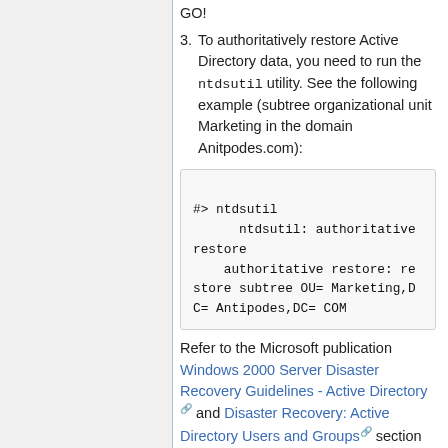3. To authoritatively restore Active Directory data, you need to run the ntdsutil utility. See the following example (subtree organizational unit Marketing in the domain Anitpodes.com):
Refer to the Microsoft publication Windows 2000 Server Disaster Recovery Guidelines - Active Directory and Disaster Recovery: Active Directory Users and Groups section "Performing